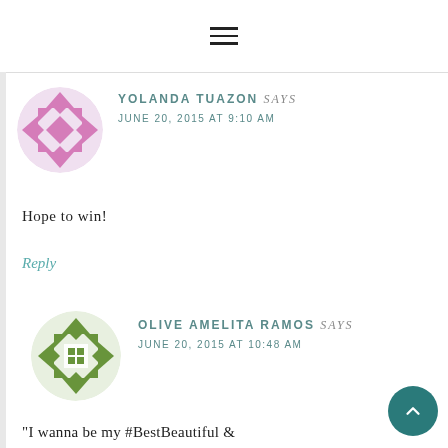≡ (hamburger menu)
[Figure (illustration): Pink geometric quilt-pattern avatar for Yolanda Tuazon]
YOLANDA TUAZON says
JUNE 20, 2015 AT 9:10 AM
Hope to win!
Reply
[Figure (illustration): Green geometric quilt-pattern avatar for Olive Amelita Ramos]
OLIVE AMELITA RAMOS says
JUNE 20, 2015 AT 10:48 AM
"I wanna be my #BestBeautiful &